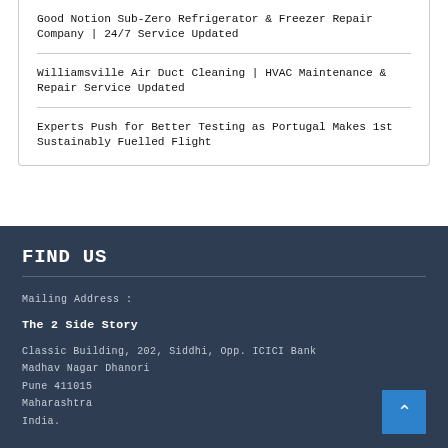Good Notion Sub-Zero Refrigerator & Freezer Repair Company | 24/7 Service Updated
Williamsville Air Duct Cleaning | HVAC Maintenance & Repair Service Updated
Experts Push for Better Testing as Portugal Makes 1st Sustainably Fuelled Flight
FIND US
Mailing Address :
The 2 Side Story
Classic Building, 202, Siddhi, Opp. ICICI Bank
Madhav Nagar Dhanori
Pune 411015
Maharashtra
India.